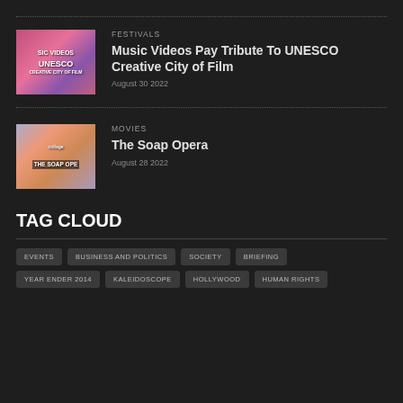[Figure (photo): Thumbnail image for Music Videos Pay Tribute To UNESCO Creative City of Film article, showing colorful festival imagery with text overlay]
FESTIVALS
Music Videos Pay Tribute To UNESCO Creative City of Film
August 30 2022
[Figure (photo): Thumbnail image for The Soap Opera article, showing movie poster collage with text THE SOAP OPE]
MOVIES
The Soap Opera
August 28 2022
TAG CLOUD
EVENTS
BUSINESS AND POLITICS
SOCIETY
BRIEFING
YEAR ENDER 2014
KALEIDOSCOPE
HOLLYWOOD
HUMAN RIGHTS